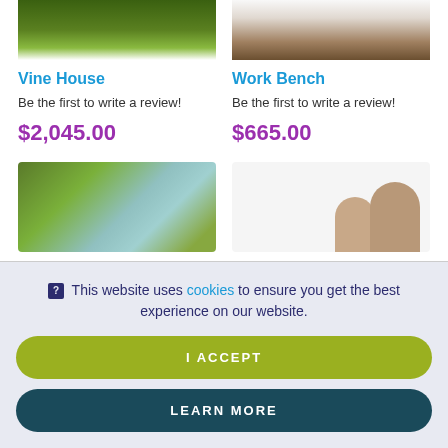[Figure (photo): Vine House product image (top, partially visible) showing green foliage structure]
Vine House
Be the first to write a review!
$2,045.00
[Figure (photo): Work Bench product image (top, partially visible) showing wooden bench with dark frame]
Work Bench
Be the first to write a review!
$665.00
[Figure (photo): Bottom-left product image partially visible showing angled green/teal panels on grass]
[Figure (photo): Bottom-right product image partially visible showing two children]
This website uses cookies to ensure you get the best experience on our website.
I ACCEPT
LEARN MORE